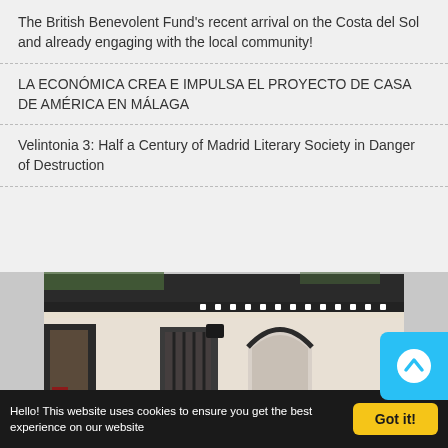The British Benevolent Fund's recent arrival on the Costa del Sol and already engaging with the local community!
LA ECONÓMICA CREA E IMPULSA EL PROYECTO DE CASA DE AMÉRICA EN MÁLAGA
Velintonia 3: Half a Century of Madrid Literary Society in Danger of Destruction
[Figure (photo): Interior courtyard of a Spanish historic building with dark wooden ceiling beams, ornate arched doorway, iron window grille, and white walls]
Hello! This website uses cookies to ensure you get the best experience on our website
Got it!